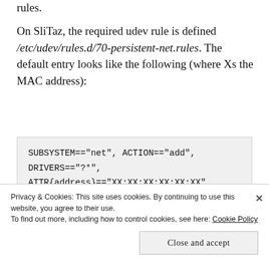rules.
On SliTaz, the required udev rule is defined /etc/udev/rules.d/70-persistent-net.rules. The default entry looks like the following (where Xs the MAC address):
SUBSYSTEM=="net", ACTION=="add", DRIVERS=="?*", ATTR{address}=="XX:XX:XX:XX:XX:XX", ATTR{dev_id}=="0x0", ATTR{type}=="1", KERNEL=="eth*", NAME="eth0"
Privacy & Cookies: This site uses cookies. By continuing to use this website, you agree to their use.
To find out more, including how to control cookies, see here: Cookie Policy